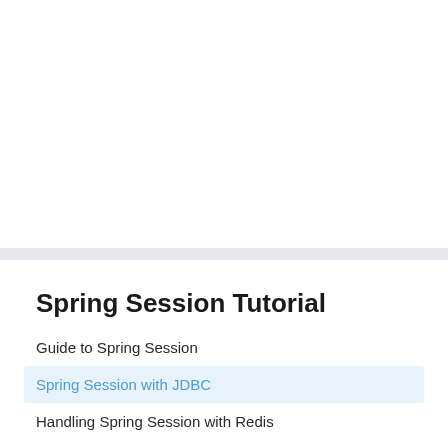Spring Session Tutorial
Guide to Spring Session
Spring Session with JDBC
Handling Spring Session with Redis